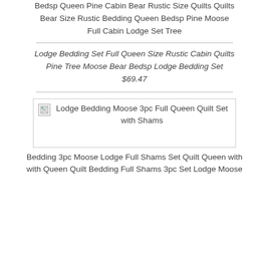Bedsp Queen Pine Cabin Bear Rustic Size Quilts Quilts Bear Size Rustic Bedding Queen Bedsp Pine Moose Full Cabin Lodge Set Tree
Lodge Bedding Set Full Queen Size Rustic Cabin Quilts Pine Tree Moose Bear Bedsp Lodge Bedding Set $69.47
[Figure (photo): Broken image placeholder for Lodge Bedding Moose 3pc Full Queen Quilt Set with Shams]
Bedding 3pc Moose Lodge Full Shams Set Quilt Queen with with Queen Quilt Bedding Full Shams 3pc Set Lodge Moose